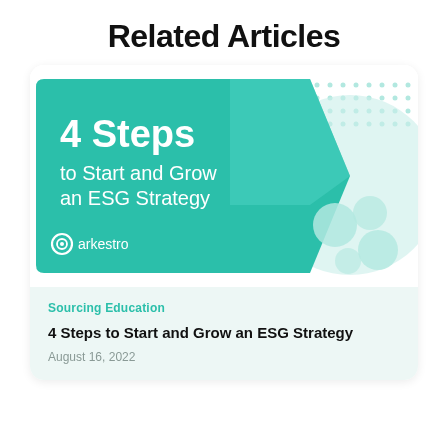Related Articles
[Figure (illustration): Article card thumbnail for '4 Steps to Start and Grow an ESG Strategy' by Arkestro. Teal/mint colored arrow-shaped background with white bold text '4 Steps to Start and Grow an ESG Strategy' and Arkestro logo. Decorative mint dots and circles on right side.]
Sourcing Education
4 Steps to Start and Grow an ESG Strategy
August 16, 2022